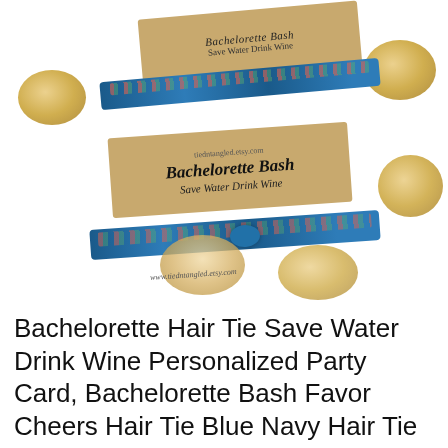[Figure (photo): Product photo showing two bachelorette hair ties with blue navy floral pattern on kraft paper cards reading 'Bachelorette Bash Save Water Drink Wine', decorated with gold glitter confetti circles on a white background. Website www.tiedntangled.etsy.com shown on cards.]
Bachelorette Hair Tie Save Water Drink Wine Personalized Party Card, Bachelorette Bash Favor Cheers Hair Tie Blue Navy Hair Tie Favor